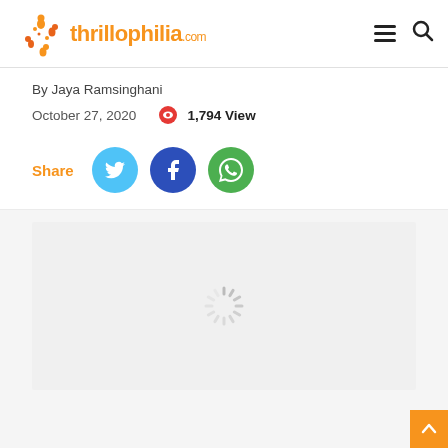thrillophilia.com
By Jaya Ramsinghani
October 27, 2020  1,794 View
Share
[Figure (screenshot): Loading spinner / placeholder image area on thrillophilia.com blog post page]